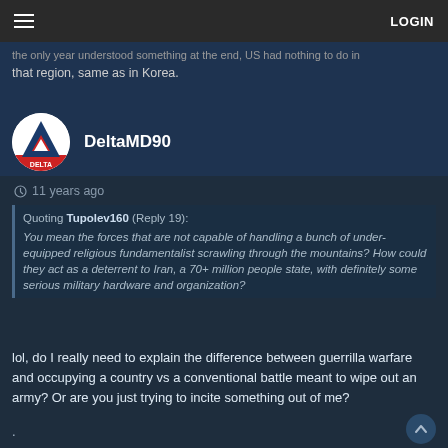≡  LOGIN
the only year understood something at the end, US had nothing to do in that region, same as in Korea.
DeltaMD90
11 years ago
Quoting Tupolev160 (Reply 19): You mean the forces that are not capable of handling a bunch of under-equipped religious fundamentalist scrawling through the mountains? How could they act as a deterrent to Iran, a 70+ million people state, with definitely some serious military hardware and organization?
lol, do I really need to explain the difference between guerrilla warfare and occupying a country vs a conventional battle meant to wipe out an army? Or are you just trying to incite something out of me?
.
.
.
Kinda brings up another topic for another thread, why did we occupy these countries? Nothing good came out of it.